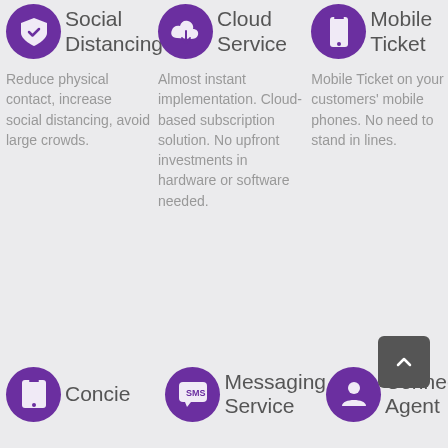[Figure (infographic): Three feature columns each with purple circle icon, title, and description text. Column 1: Social Distancing icon (shield with checkmark). Column 2: Cloud Service icon (cloud with download arrow). Column 3: Mobile Ticket icon (mobile phone). Followed by bottom row showing Concierge, Messaging Service, Connect Agent icons.]
Social Distancing
Reduce physical contact, increase social distancing, avoid large crowds.
Cloud Service
Almost instant implementation. Cloud-based subscription solution. No upfront investments in hardware or software needed.
Mobile Ticket
Mobile Ticket on your customers' mobile phones. No need to stand in lines.
Concie
Messaging Service
Connect Agent